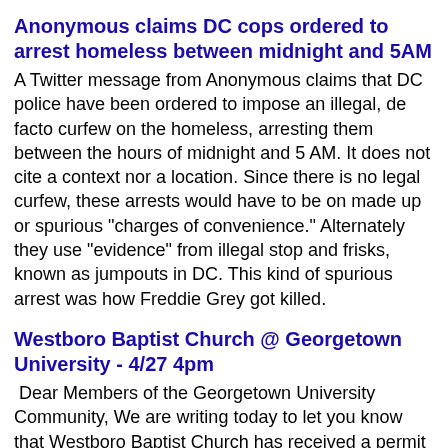Anonymous claims DC cops ordered to arrest homeless between midnight and 5AM
A Twitter message from Anonymous claims that DC police have been ordered to impose an illegal, de facto curfew on the homeless, arresting them between the hours of midnight and 5 AM. It does not cite a context nor a location. Since there is no legal curfew, these arrests would have to be on made up or spurious "charges of convenience." Alternately they use "evidence" from illegal stop and frisks, known as jumpouts in DC. This kind of spurious arrest was how Freddie Grey got killed.
Westboro Baptist Church @ Georgetown University - 4/27 4pm
Dear Members of the Georgetown University Community, We are writing today to let you know that Westboro Baptist Church has received a permit from the city to picket in the public space outside of the main gates at